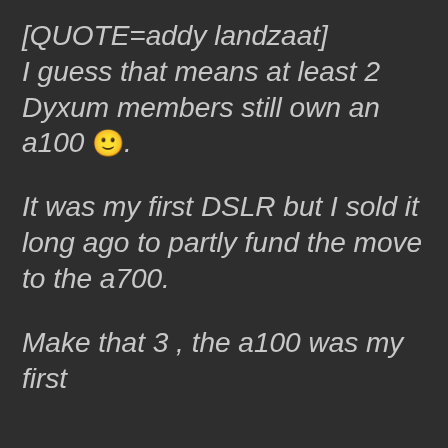[QUOTE=addy landzaat] I guess that means at least 2 Dyxum members still own an a100 🙂.
It was my first DSLR but I sold it long ago to partly fund the move to the a700.
Make that 3 , the a100 was my first